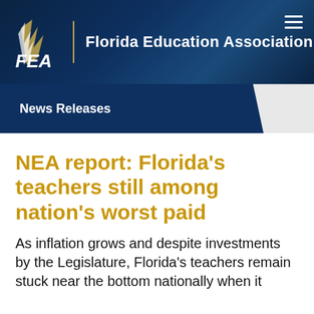FEA | Florida Education Association
News Releases
NEA report: Florida's teachers still among nation's worst paid
As inflation grows and despite investments by the Legislature, Florida's teachers remain stuck near the bottom nationally when it